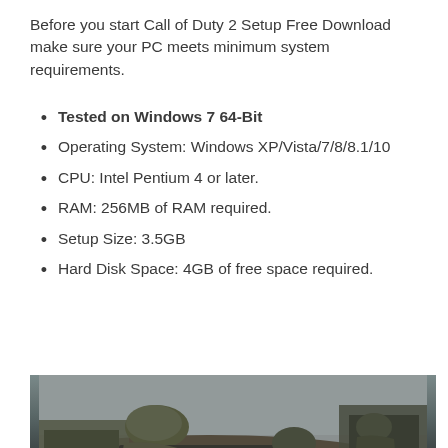Before you start Call of Duty 2 Setup Free Download make sure your PC meets minimum system requirements.
Tested on Windows 7 64-Bit
Operating System: Windows XP/Vista/7/8/8.1/10
CPU: Intel Pentium 4 or later.
RAM: 256MB of RAM required.
Setup Size: 3.5GB
Hard Disk Space: 4GB of free space required.
[Figure (photo): Screenshot from Call of Duty 2 game showing soldiers in a WWII battlefield scene. A soldier in the foreground is aiming a rifle, with other soldiers visible in the background against a grey sky.]